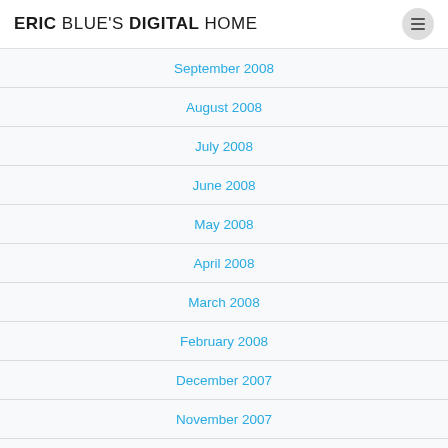ERIC BLUE'S DIGITAL HOME
September 2008
August 2008
July 2008
June 2008
May 2008
April 2008
March 2008
February 2008
December 2007
November 2007
October 2007